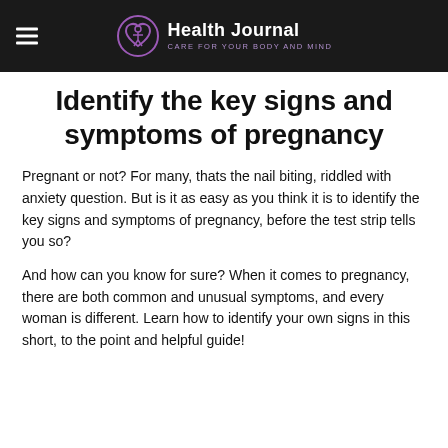Health Journal — CARE FOR YOUR BODY AND MIND
Identify the key signs and symptoms of pregnancy
Pregnant or not? For many, thats the nail biting, riddled with anxiety question. But is it as easy as you think it is to identify the key signs and symptoms of pregnancy, before the test strip tells you so?
And how can you know for sure? When it comes to pregnancy, there are both common and unusual symptoms, and every woman is different. Learn how to identify your own signs in this short, to the point and helpful guide!